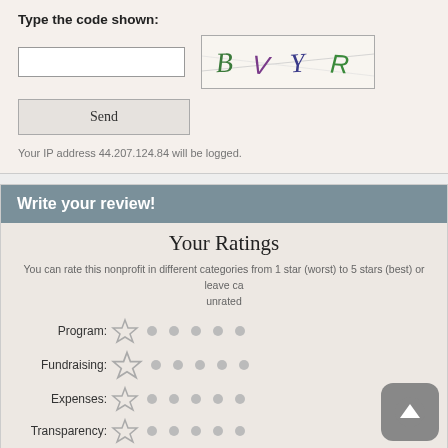Type the code shown:
[Figure (screenshot): CAPTCHA image showing the text 'B V Y R' in colored handwritten letters on a light background with decorative lines]
Send
Your IP address 44.207.124.84 will be logged.
Write your review!
Your Ratings
You can rate this nonprofit in different categories from 1 star (worst) to 5 stars (best) or leave ca unrated
Program:
Fundraising:
Expenses:
Transparency: